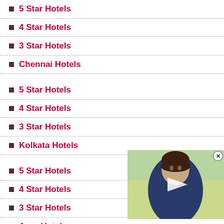5 Star Hotels
4 Star Hotels
3 Star Hotels
Chennai Hotels
5 Star Hotels
4 Star Hotels
3 Star Hotels
Kolkata Hotels
5 Star Hotels
4 Star Hotels
3 Star Hotels
Agra Hotels
Ahmedabad Hotels
[Figure (photo): Video overlay showing a woman in a dark blue top against a yellow-green background, with a play button and close button.]